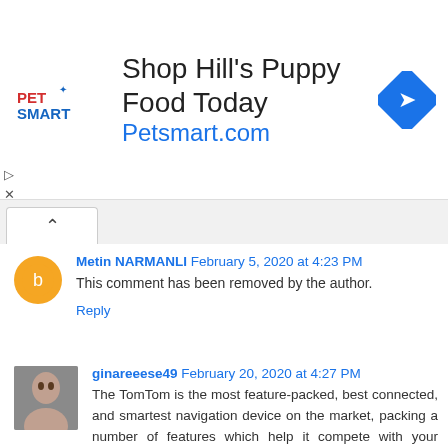[Figure (screenshot): PetSmart advertisement banner showing logo, 'Shop Hill's Puppy Food Today', 'Petsmart.com' link, and blue diamond arrow icon]
Metin NARMANLI February 5, 2020 at 4:23 PM
This comment has been removed by the author.
Reply
ginareeese49 February 20, 2020 at 4:27 PM
The TomTom is the most feature-packed, best connected, and smartest navigation device on the market, packing a number of features which help it compete with your smartphone.
tomtom.com/getstarted | tomtom get started | www.tomtom.com/getstarted | tomtom update
Reply